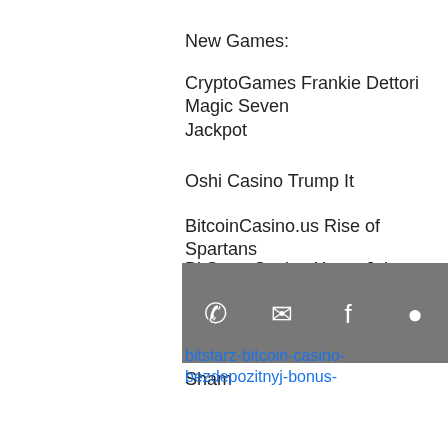New Games:
CryptoGames Frankie Dettori Magic Seven Jackpot
Oshi Casino Trump It
BitcoinCasino.us Rise of Spartans
BitStarz Casino Xmas Joker
OneHash Wunderfest
FortuneJack Casino Glam or Sham
Bitcoin Penguin Casino The Giant
CryptoGames Psychedelic Sixties
mBit Casino Golden Lamp
Playamo Casino Tequila Fiesta
King Billy Casino Wild Blood
mBit Casino Wild Melon
Syndicate Casino Cutie Cat moorhuhn Shooter
Vegas Crest Casino Legends of Greece
mBTC free bet Psychedelic Sixties
[Figure (other): Footer bar with phone, email, Facebook, and location icons on grey background]
bitstarz-bitcoin-casino-bezdepozitnyj-bonus-